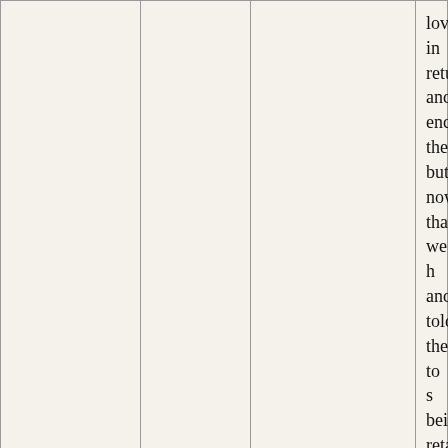| Name | Date | Type | Text |
| --- | --- | --- | --- |
|  |  |  | love in return and encountering them but now that we h and told them to s being retaliatory. V where to go. Pleas would protect us i |
| Christina | August 8, 2021 | Healing - Total body | Total body healing issues come up. I v be healthier. I fear late for me. |
|  |  |  | Good morning all brothers and siste way to the library a couple of days w birthday so i said n one knows but the better than nothin bring a smile to m day!Then the tho |